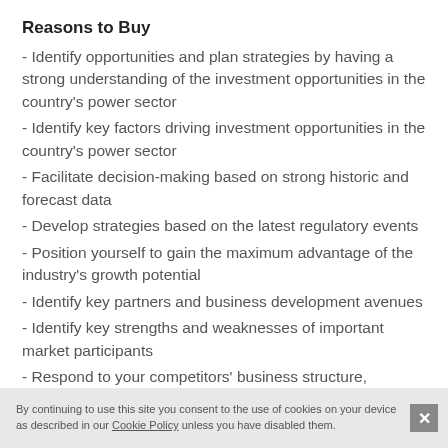Reasons to Buy
- Identify opportunities and plan strategies by having a strong understanding of the investment opportunities in the country's power sector
- Identify key factors driving investment opportunities in the country's power sector
- Facilitate decision-making based on strong historic and forecast data
- Develop strategies based on the latest regulatory events
- Position yourself to gain the maximum advantage of the industry's growth potential
- Identify key partners and business development avenues
- Identify key strengths and weaknesses of important market participants
- Respond to your competitors' business structure, strategy, and prospects
By continuing to use this site you consent to the use of cookies on your device as described in our Cookie Policy unless you have disabled them.